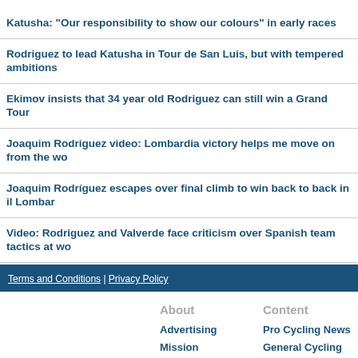Katusha: “Our responsibility to show our colours” in early races
Rodriguez to lead Katusha in Tour de San Luis, but with tempered ambitions
Ekimov insists that 34 year old Rodriguez can still win a Grand Tour
Joaquim Rodriguez video: Lombardia victory helps me move on from the wo
Joaquim Rodríguez escapes over final climb to win back to back in il Lombar
Video: Rodriguez and Valverde face criticism over Spanish team tactics at wo
Terms and Conditions | Privacy Policy
About
Advertising
Mission
Contact
Jobs
Content
Pro Cycling News
General Cycling Articles
Training and Health
Gear Reviews